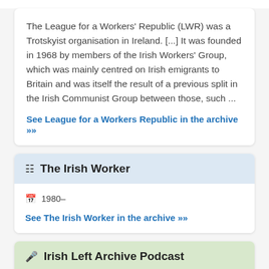The League for a Workers' Republic (LWR) was a Trotskyist organisation in Ireland. [...] It was founded in 1968 by members of the Irish Workers' Group, which was mainly centred on Irish emigrants to Britain and was itself the result of a previous split in the Irish Communist Group between those, such ...
See League for a Workers Republic in the archive »»
The Irish Worker
1980–
See The Irish Worker in the archive »»
Irish Left Archive Podcast
[Figure (illustration): Podcast episode thumbnail image with blue border, showing a figure on left, orange/red circular shapes in the center, and text on the right side]